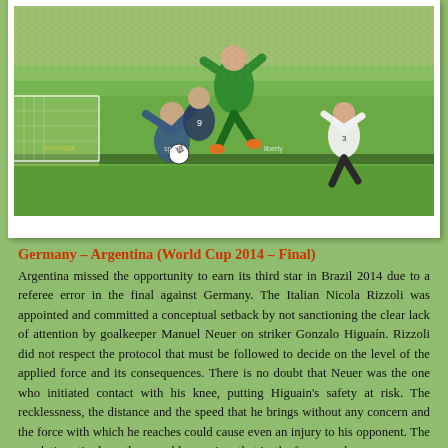[Figure (photo): Soccer match photo showing Germany vs Argentina World Cup 2014 Final. Goalkeeper Manuel Neuer (in green) jumping and colliding with striker Gonzalo Higuain, with another player in white jersey visible on the right side of the frame. Stadium crowd visible in background.]
Germany – Argentina (World Cup 2014 – Final)
Argentina missed the opportunity to earn its third star in Brazil 2014 due to a referee error in the final against Germany. The Italian Nicola Rizzoli was appointed and committed a conceptual setback by not sanctioning the clear lack of attention by goalkeeper Manuel Neuer on striker Gonzalo Higuaín. Rizzoli did not respect the protocol that must be followed to decide on the level of the applied force and its consequences. There is no doubt that Neuer was the one who initiated contact with his knee, putting Higuain's safety at risk. The recklessness, the distance and the speed that he brings without any concern and the force with which he reaches could cause even an injury to his opponent. The regulation stipulates that a reckless action, that is, the force used by Neuer, at a rut will be penalized with a direct free kick...